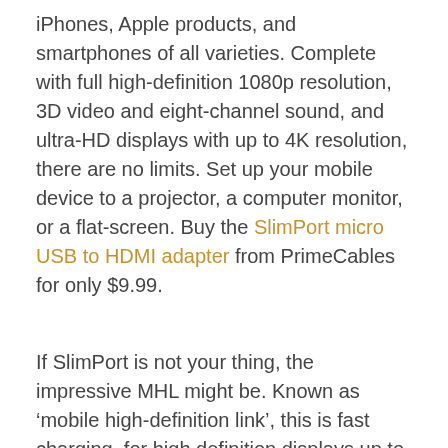iPhones, Apple products, and smartphones of all varieties. Complete with full high-definition 1080p resolution, 3D video and eight-channel sound, and ultra-HD displays with up to 4K resolution, there are no limits. Set up your mobile device to a projector, a computer monitor, or a flat-screen. Buy the SlimPort micro USB to HDMI adapter from PrimeCables for only $9.99.
If SlimPort is not your thing, the impressive MHL might be. Known as ‘mobile high-definition link’, this is fast charging, for high definition displays up to 1080p60 video, eight-channel sound, and no lag playing things like music, video, and gaming. A great MHL device is the 5pin to 11pin micro-USB adapter to MHL adapter for...